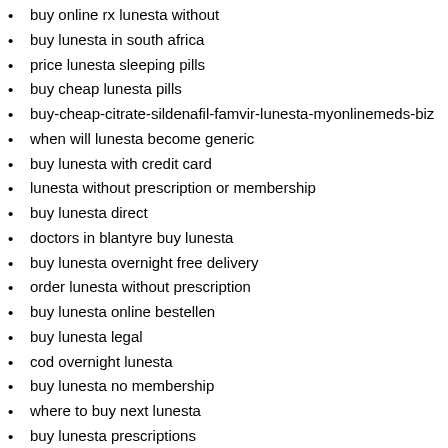buy online rx lunesta without
buy lunesta in south africa
price lunesta sleeping pills
buy cheap lunesta pills
buy-cheap-citrate-sildenafil-famvir-lunesta-myonlinemeds-biz
when will lunesta become generic
buy lunesta with credit card
lunesta without prescription or membership
buy lunesta direct
doctors in blantyre buy lunesta
buy lunesta overnight free delivery
order lunesta without prescription
buy lunesta online bestellen
buy lunesta legal
cod overnight lunesta
buy lunesta no membership
where to buy next lunesta
buy lunesta prescriptions
generic lunesta bars
purchase lunesta online seho1p
pharma q buy lunesta online
where to purchase next lunesta
buy lunesta online